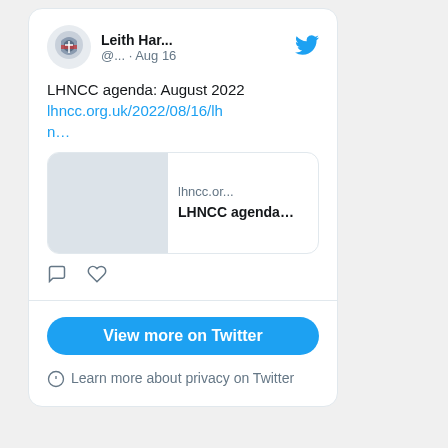[Figure (screenshot): Twitter/social media widget showing a tweet from Leith Har... (@...) posted on Aug 16, with text 'LHNCC agenda: August 2022' and a link lhncc.org.uk/2022/08/16/lhn... with a link preview card showing 'lhncc.or...' and 'LHNCC agenda...' and action icons for reply and like, followed by a 'View more on Twitter' button and privacy notice.]